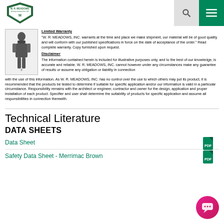W. R. MEADOWS logo, search and menu buttons
"W. R. MEADOWS, INC. warrants at the time and place we make shipment, our material will be of good quality and will conform with our published specifications in force on the date of acceptance of the order." Read complete warranty. Copy furnished upon request.
Disclaimer
The information contained herein is included for illustrative purposes only, and to the best of our knowledge, is accurate and reliable. W. R. MEADOWS, INC. cannot however under any circumstances make any guarantee of results or assume any obligation or liability in connection with the use of this information. As W. R. MEADOWS, INC. has no control over the use to which others may put its product, it is recommended that the products be tested to determine if suitable for specific application and/or our information is valid in a particular circumstance. Responsibility remains with the architect or engineer, contractor and owner for the design, application and proper installation of each product. Specifier and user shall determine the suitability of products for specific application and assume all responsibilities in connection therewith.
Technical Literature
DATA SHEETS
Data Sheet
Safety Data Sheet - Merrimac Brown